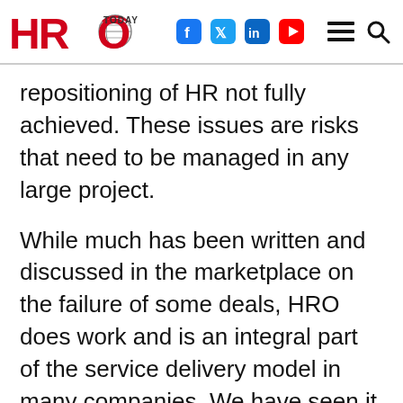HRO Today
repositioning of HR not fully achieved. These issues are risks that need to be managed in any large project.
While much has been written and discussed in the marketplace on the failure of some deals, HRO does work and is an integral part of the service delivery model in many companies. We have seen it work, played major roles in supporting implementation teams, and helped HR organizations in their efforts to transform through outsourcing. For